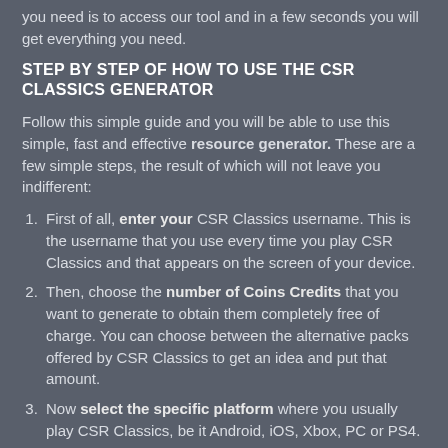you need is to access our tool and in a few seconds you will get everything you need.
STEP BY STEP OF HOW TO USE THE CSR CLASSICS GENERATOR
Follow this simple guide and you will be able to use this simple, fast and effective resource generator. These are a few simple steps, the result of which will not leave you indifferent:
First of all, enter your CSR Classics username. This is the username that you use every time you play CSR Classics and that appears on the screen of your device.
Then, choose the number of Coins Credits that you want to generate to obtain them completely free of charge. You can choose between the alternative packs offered by CSR Classics to get an idea and put that amount.
Now select the specific platform where you usually play CSR Classics, be it Android, iOS, Xbox, PC or PS4.